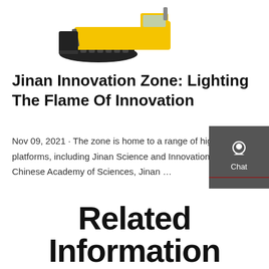[Figure (photo): Photograph of a yellow and black tracked bulldozer/crawler machine with a front blade, viewed from a slight angle.]
Jinan Innovation Zone: Lighting The Flame Of Innovation
Nov 09, 2021 · The zone is home to a range of high-level R&D platforms, including Jinan Science and Innovation City of the Chinese Academy of Sciences, Jinan …
Get a quote
Related Information